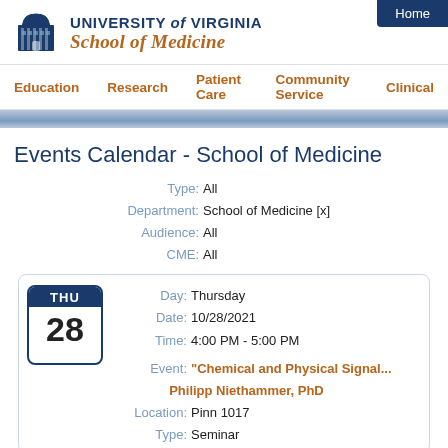[Figure (logo): University of Virginia School of Medicine logo with building icon]
Home
Education  Research  Patient Care  Community Service  Clinical
Events Calendar - School of Medicine
Type: All
Department: School of Medicine [x]
Audience: All
CME: All
Day: Thursday
Date: 10/28/2021
Time: 4:00 PM - 5:00 PM
Event: "Chemical and Physical Signal... Philipp Niethammer, PhD
Location: Pinn 1017
Type: Seminar